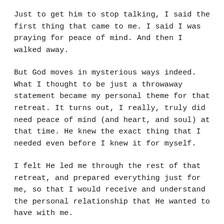Just to get him to stop talking, I said the first thing that came to me. I said I was praying for peace of mind. And then I walked away.
But God moves in mysterious ways indeed. What I thought to be just a throwaway statement became my personal theme for that retreat. It turns out, I really, truly did need peace of mind (and heart, and soul) at that time. He knew the exact thing that I needed even before I knew it for myself.
I felt He led me through the rest of that retreat, and prepared everything just for me, so that I would receive and understand the personal relationship that He wanted to have with me.